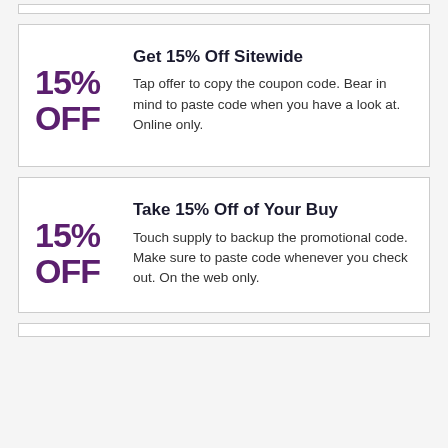Get 15% Off Sitewide
Tap offer to copy the coupon code. Bear in mind to paste code when you have a look at. Online only.
Take 15% Off of Your Buy
Touch supply to backup the promotional code. Make sure to paste code whenever you check out. On the web only.